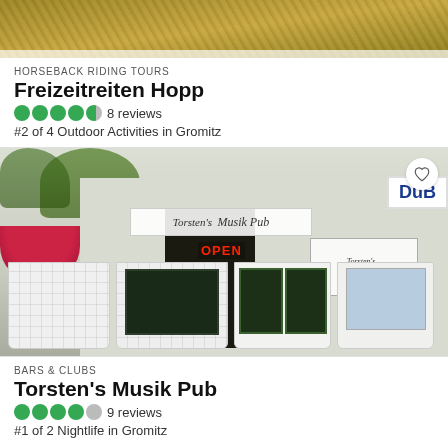[Figure (photo): Outdoor scenic photo with trees and golden light, top crop]
HORSEBACK RIDING TOURS
Freizeitreiten Hopp
8 reviews
#2 of 4 Outdoor Activities in Gromitz
[Figure (photo): Torsten's Musik Pub exterior photo showing white fence, chalkboard signs, OPEN neon, DuB sign]
BARS & CLUBS
Torsten's Musik Pub
9 reviews
#1 of 2 Nightlife in Gromitz